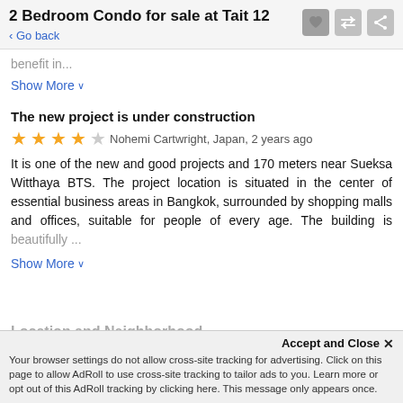2 Bedroom Condo for sale at Tait 12
< Go back
benefit in...
Show More ∨
The new project is under construction
★★★★☆ Nohemi Cartwright, Japan, 2 years ago
It is one of the new and good projects and 170 meters near Sueksa Witthaya BTS. The project location is situated in the center of essential business areas in Bangkok, surrounded by shopping malls and offices, suitable for people of every age. The building is beautifully ...
Show More ∨
Location and Neighborhood
Accept and Close ×
Your browser settings do not allow cross-site tracking for advertising. Click on this page to allow AdRoll to use cross-site tracking to tailor ads to you. Learn more or opt out of this AdRoll tracking by clicking here. This message only appears once.